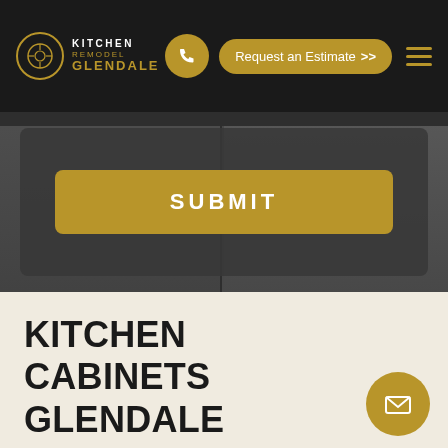Kitchen Remodel Glendale — Request an Estimate
[Figure (screenshot): Submit button overlaid on dark kitchen cabinet background]
KITCHEN CABINETS GLENDALE